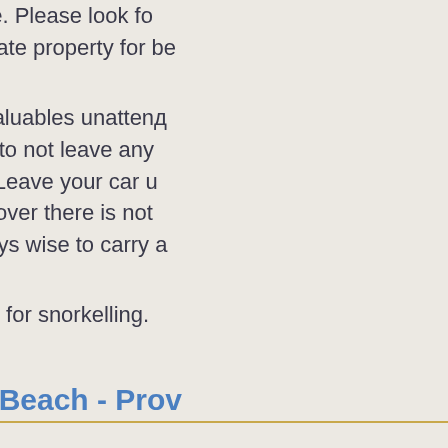to the dune line. Please look for do not use private property for be
Do not leave valuables unattenд recommended to not leave any remote areas. Leave your car u window to discover there is not areas it is always wise to carry a
* Best beaches for snorkelling.
The Bight Beach - Prov
Easily accessible at the end o Children's Park with facilities ar Fish Fry. A favourite Kite Boardin
The Bight Reef * - Prov
At the end of Penn's Road experience close to shore. The